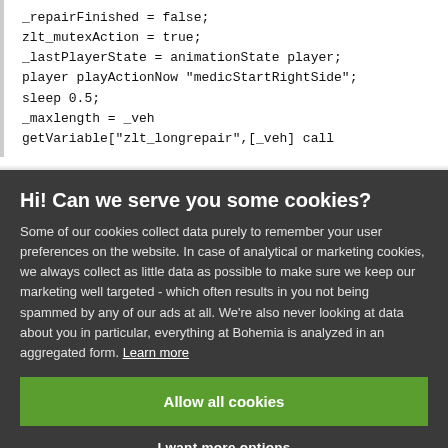_repairFinished = false;
zlt_mutexAction = true;
_lastPlayerState = animationState player;
player playActionNow "medicStartRightSide";
sleep 0.5;
_maxlength = _veh getVariable["zlt_longrepair",[_veh] call
Hi! Can we serve you some cookies?
Some of our cookies collect data purely to remember your user preferences on the website. In case of analytical or marketing cookies, we always collect as little data as possible to make sure we keep our marketing well targeted - which often results in you not being spammed by any of our ads at all. We're also never looking at data about you in particular, everything at Bohemia is analyzed in an aggregated form. Learn more
Allow all cookies
I want more options